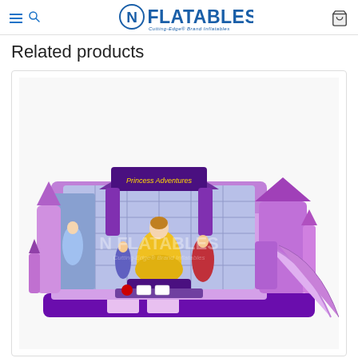NFlatables - Cutting-Edge Brand Inflatables
Related products
[Figure (photo): A purple and pink inflatable bounce house combo with Disney Princess themed artwork including Belle, Cinderella, and other princesses, featuring turrets, an arch entry, and an attached slide on the right side. The NFlatables logo watermark is visible on the inflatable.]